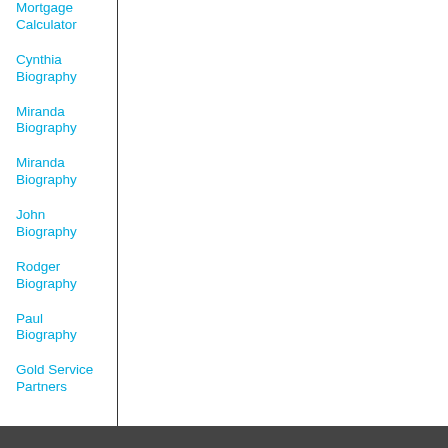Mortgage Calculator
Cynthia Biography
Miranda Biography
Miranda Biography
John Biography
Rodger Biography
Paul Biography
Gold Service Partners